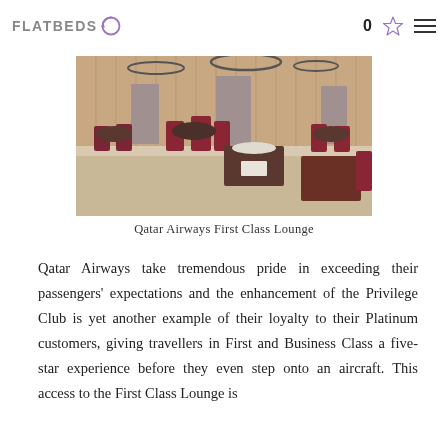FLATBEDS 0
[Figure (photo): Interior of Qatar Airways First Class Lounge showing dining area with dark red/burgundy chairs, round tables set for dining, circular pendant lights, and warm wooden paneling in the background.]
Qatar Airways First Class Lounge
Qatar Airways take tremendous pride in exceeding their passengers' expectations and the enhancement of the Privilege Club is yet another example of their loyalty to their Platinum customers, giving travellers in First and Business Class a five-star experience before they even step onto an aircraft. This access to the First Class Lounge is